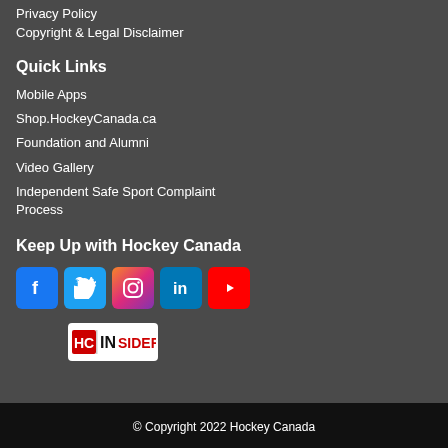Privacy Policy
Copyright & Legal Disclaimer
Quick Links
Mobile Apps
Shop.HockeyCanada.ca
Foundation and Alumni
Video Gallery
Independent Safe Sport Complaint Process
Keep Up with Hockey Canada
[Figure (logo): Social media icons: Facebook, Twitter, Instagram, LinkedIn, YouTube]
[Figure (logo): Hockey Canada Insider badge logo]
© Copyright 2022 Hockey Canada